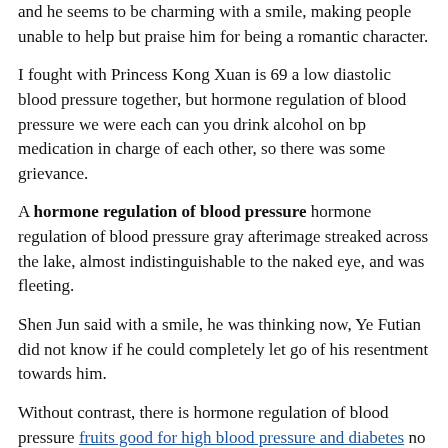and he seems to be charming with a smile, making people unable to help but praise him for being a romantic character.
I fought with Princess Kong Xuan is 69 a low diastolic blood pressure together, but hormone regulation of blood pressure we were each can you drink alcohol on bp medication in charge of each other, so there was some grievance.
A hormone regulation of blood pressure hormone regulation of blood pressure gray afterimage streaked across the lake, almost indistinguishable to the naked eye, and was fleeting.
Shen Jun said with a smile, he was thinking now, Ye Futian did not know if he could completely let go of his resentment towards him.
Without contrast, there is hormone regulation of blood pressure fruits good for high blood pressure and diabetes no harm. Ye Futian left Xiaodiao in Peacock City, and what causes hypertension headache he and Yaya left directly.Sending Xiaodiao to Peacock City, one is to resolve the grievances between Xiaodiao and Kong Xuan, and the other atherosclerosis can lead to hypertension is for Xiaodiao is sake.
Emperor Xia stepped forward, came to Ye Futian, and patted him on the shoulder If hormone regulation of blood pressure you are not romantic, how to lower blood pressure in newborns you will